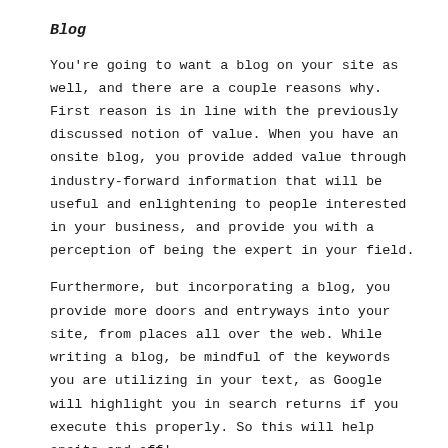Blog
You're going to want a blog on your site as well, and there are a couple reasons why. First reason is in line with the previously discussed notion of value. When you have an onsite blog, you provide added value through industry-forward information that will be useful and enlightening to people interested in your business, and provide you with a perception of being the expert in your field.
Furthermore, but incorporating a blog, you provide more doors and entryways into your site, from places all over the web. While writing a blog, be mindful of the keywords you are utilizing in your text, as Google will highlight you in search returns if you execute this properly. So this will help onsite and off!
About